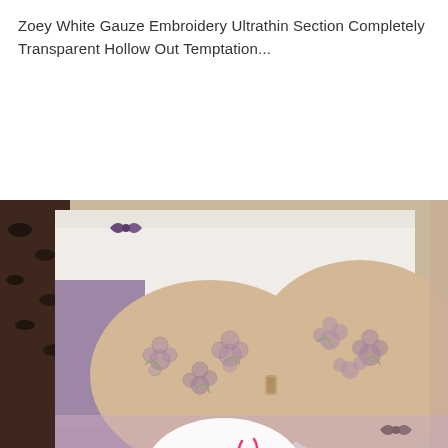Zoey White Gauze Embroidery Ultrathin Section Completely Transparent Hollow Out Temptation...
Rs:1,850
[Figure (photo): Product photo showing a beige/cream bra with purple floral embroidery pattern displayed in a white wooden tray, with matching underwear visible. A Zoe Fashion brand logo (white circle with 'Zoe' in bold serif and 'Fashion' in pink) is overlaid on the upper center of the image.]